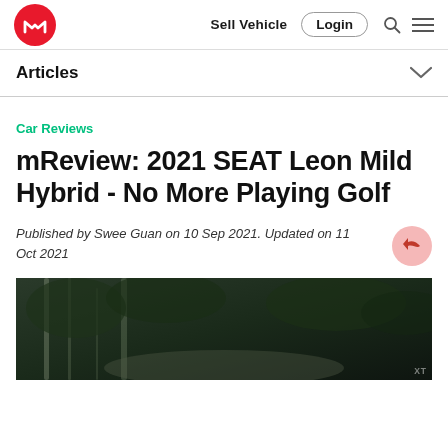Sell Vehicle  Login
Articles
Car Reviews
mReview: 2021 SEAT Leon Mild Hybrid - No More Playing Golf
Published by Swee Guan on 10 Sep 2021. Updated on 11 Oct 2021
[Figure (photo): Dark outdoor photograph, likely showing trees, taken from inside or near a vehicle, very dark with green foliage tones]